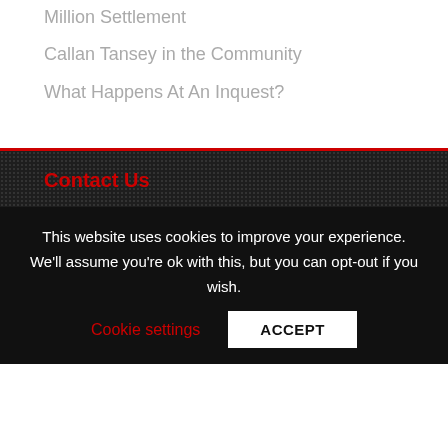Million Settlement
Callan Tansey in the Community
What Happens At An Inquest?
Contact Us
SLIGO: 071 916 2032
BOYLE: 071 966 2019
DUBLIN: 01 878 2792
BALLINA: 096 71618
GALWAY: 091 865 000
LIMERICK: 061 318 924
This website uses cookies to improve your experience. We'll assume you're ok with this, but you can opt-out if you wish.
Cookie settings
ACCEPT